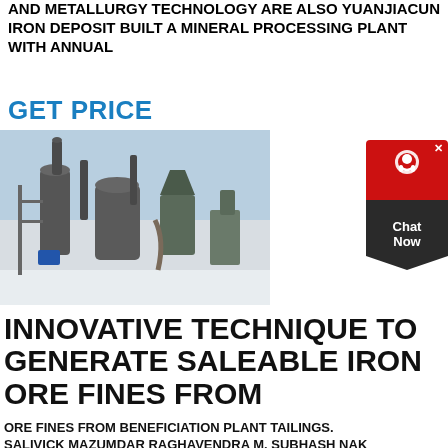AND METALLURGY TECHNOLOGY ARE ALSO YUANJIACUN IRON DEPOSIT BUILT A MINERAL PROCESSING PLANT WITH ANNUAL
GET PRICE
[Figure (photo): Industrial mineral processing plant equipment including large cylindrical mills, cyclones, and conveyor structures in a snowy outdoor setting.]
[Figure (other): Chat Now widget button with red top section containing a headset icon and dark bottom section with Chat Now text.]
INNOVATIVE TECHNIQUE TO GENERATE SALEABLE IRON ORE FINES FROM
ORE FINES FROM BENEFICIATION PLANT TAILINGS. SALIVICK MAZUMDAR RAGHAVENDRA M. SUBHASH NAK